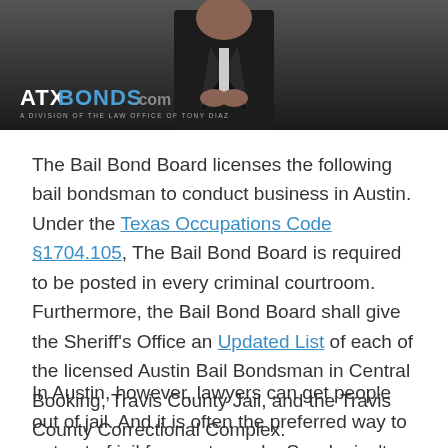[Figure (photo): Man in dark suit with hands clasped, ATXBonds.com logo overlay at bottom left]
The Bail Bond Board licenses the following bail bondsman to conduct business in Austin. Under the Texas Occupations Code §1704.105, The Bail Bond Board is required to be posted in every criminal courtroom. Furthermore, the Bail Bond Board shall give the Sheriff's Office an Updated List of each of the licensed Austin Bail Bondsman in Central Booking, Travis County Jail, and the Travis County Correctional Complex.
In Austin, however, lawyers can get people out of jail. And it is often the preferred way to get out of jail for most people. So why isn't there a list of lawyers posted at the jail?